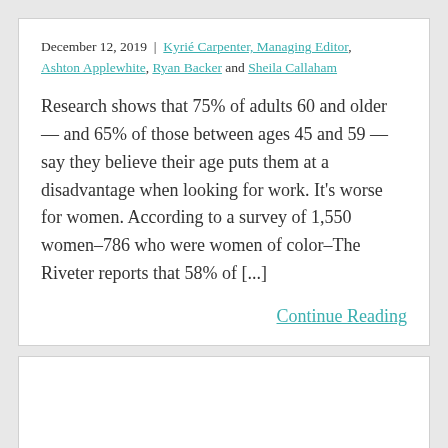December 12, 2019 | Kyrié Carpenter, Managing Editor, Ashton Applewhite, Ryan Backer and Sheila Callaham
Research shows that 75% of adults 60 and older — and 65% of those between ages 45 and 59 — say they believe their age puts them at a disadvantage when looking for work. It's worse for women. According to a survey of 1,550 women–786 who were women of color–The Riveter reports that 58% of [...]
Continue Reading